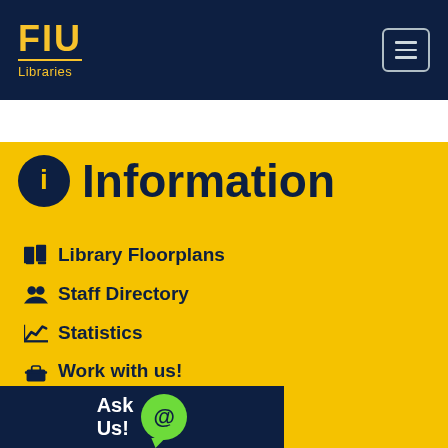FIU Libraries
Information
Library Floorplans
Staff Directory
Statistics
Work with us!
Ask Us!